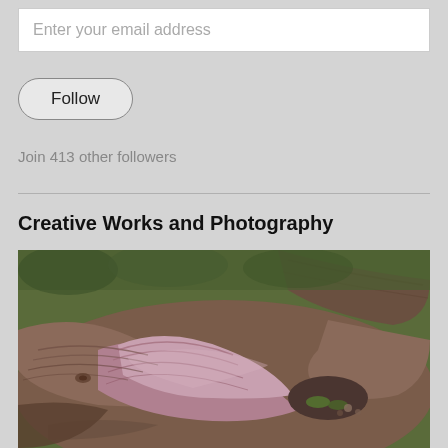Enter your email address
Follow
Join 413 other followers
Creative Works and Photography
[Figure (photo): Close-up photograph of gnarled, twisted tree roots on a forest floor. The roots display reddish-pink hues on the upper surfaces with deep grooves and wood grain texture. Green leaves and forest debris are visible in the background and between the roots.]